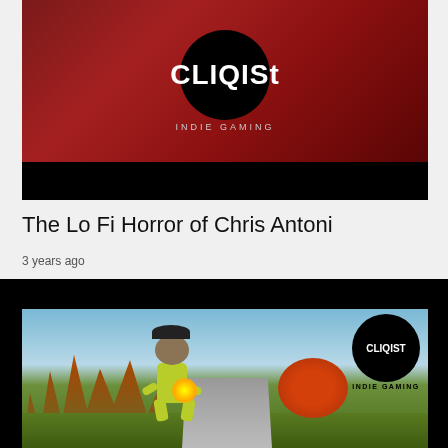[Figure (screenshot): Cliqist Indie Gaming logo on dark red/maroon background with black bar below]
The Lo Fi Horror of Chris Antoni
3 years ago
[Figure (screenshot): Cliqist Indie Gaming branded screenshot showing a cartoon character in a yellow-green humanoid form with glasses and beard, running through a grassy outdoor scene with autumn-colored trees, with a gun visible in the foreground and bright muzzle flash]